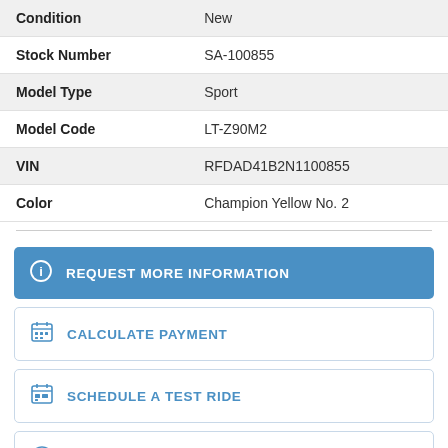| Field | Value |
| --- | --- |
| Condition | New |
| Stock Number | SA-100855 |
| Model Type | Sport |
| Model Code | LT-Z90M2 |
| VIN | RFDAD41B2N1100855 |
| Color | Champion Yellow No. 2 |
REQUEST MORE INFORMATION
CALCULATE PAYMENT
SCHEDULE A TEST RIDE
INSURANCE QUOTE